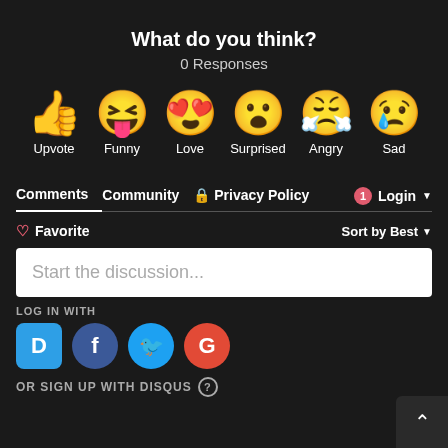What do you think?
0 Responses
[Figure (illustration): Six emoji reaction icons in a row: thumbs up (Upvote), laughing face with tongue (Funny), heart-eyes face (Love), surprised face (Surprised), angry crying face (Angry), sad face with tear (Sad)]
Comments  Community  Privacy Policy  1  Login
Favorite  Sort by Best
Start the discussion...
LOG IN WITH
[Figure (logo): Four social login buttons: Disqus (D), Facebook (f), Twitter bird, Google (G)]
OR SIGN UP WITH DISQUS